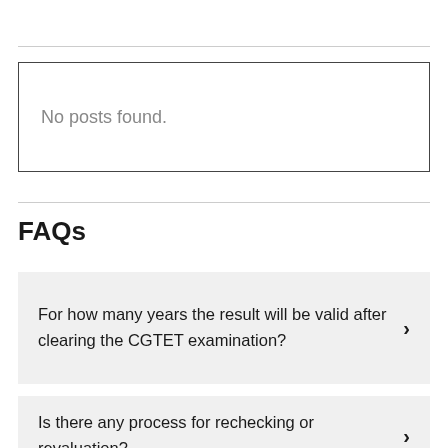No posts found.
FAQs
For how many years the result will be valid after clearing the CGTET examination?
Is there any process for rechecking or revaluation?